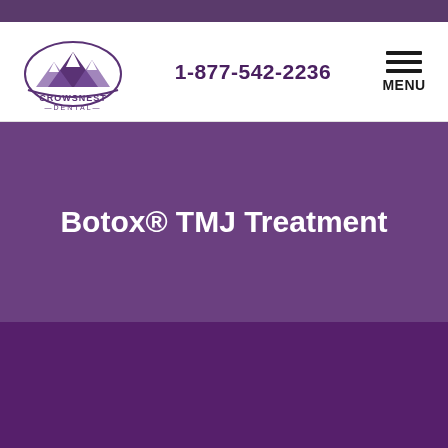[Figure (logo): Crowsnest Dental logo with mountain illustration above the text CROWSNEST DENTAL]
1-877-542-2236
Botox® TMJ Treatment